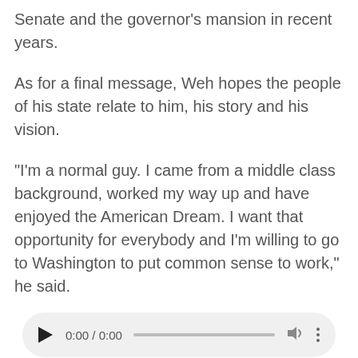Senate and the governor's mansion in recent years.
As for a final message, Weh hopes the people of his state relate to him, his story and his vision.
"I'm a normal guy.  I came from a middle class background, worked my way up and have enjoyed the American Dream.  I want that opportunity for everybody and I'm willing to go to Washington to put common sense to work," he said.
[Figure (other): Audio player widget showing 0:00 / 0:00 with play button, progress bar, volume and more options icons]
Standard Podcast  | 9:47 |  Hide Player | Play in Popup |